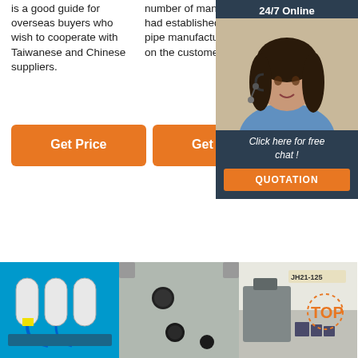is a good guide for overseas buyers who wish to cooperate with Taiwanese and Chinese suppliers.
number of manufacturers had established extrusion pipe manufacturing plants on the customer demand.
Co.,JiangyinBosj Science And Technology COJiangyin B A C 3
[Figure (infographic): 24/7 Online chat popup with woman wearing headset, 'Click here for free chat!' text, and QUOTATION button]
Get Price
Get Price
[Figure (photo): Industrial machinery with white cylinders and blue tubing]
[Figure (photo): Metal plate with drilled holes]
[Figure (photo): Factory floor with JH21-125 machine and TOP badge overlay]